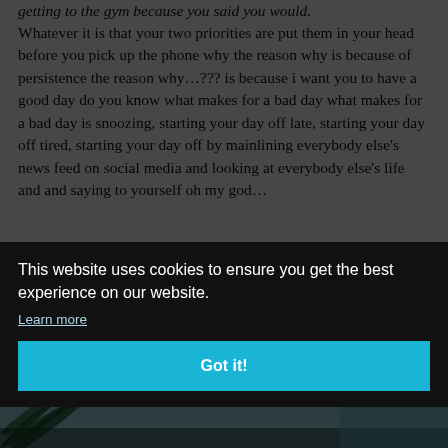getting to the gym because you said you would.
Whatever it is that your two priorities are put them in your head before you pick up the phone why the reason why is because of persistence the reason why…??? is because i want you to have a good day do you know what makes for a bad day what makes for a bad day is snoozing, starting your day off late, starting your day off tired, starting your day off by mainlining everybody else's news feed on social media and looking at everybody else's life and and saying to yourself oh my god…
They're on vacation or gosh they look so great or their friends are so fancy or my gosh they've got some money
[Figure (screenshot): Cookie consent overlay with dark semi-transparent background. White text reads: 'This website uses cookies to ensure you get the best experience on our website.' with 'Learn more' link and a blue 'Got it!' button.]
[Figure (photo): Partially visible tropical beach photo with blue sky and palm leaves at bottom of page.]